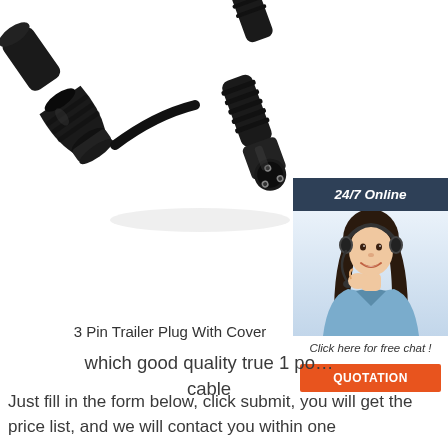[Figure (photo): Black 3-pin trailer plug connector with cover/cap, shown disassembled — the plug body and the protective cover are separated, revealing the 3-pin male connector head. Product is black plastic.]
[Figure (photo): Customer service representative sidebar widget: header '24/7 Online' in dark blue/grey background, photo of smiling woman with headset and dark hair in light blue outfit, chat button text 'Click here for free chat!', and orange 'QUOTATION' button.]
3 Pin Trailer Plug With Cover
which good quality true 1 po... cable
Just fill in the form below, click submit, you will get the price list, and we will contact you within one